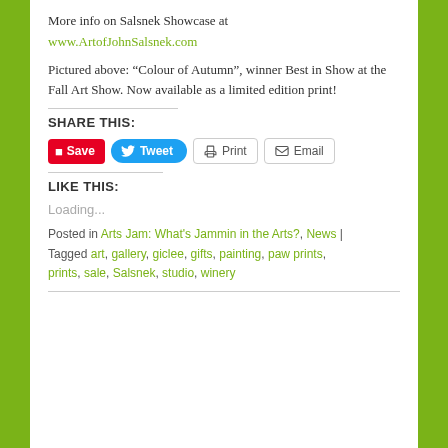More info on Salsnek Showcase at www.ArtofjohnSalsnek.com
Pictured above: “Colour of Autumn”, winner Best in Show at the Fall Art Show. Now available as a limited edition print!
SHARE THIS:
[Figure (other): Social share buttons: Save (Pinterest), Tweet (Twitter), Print, Email]
LIKE THIS:
Loading...
Posted in Arts Jam: What’s Jammin in the Arts?, News | Tagged art, gallery, giclee, gifts, painting, paw prints, prints, sale, Salsnek, studio, winery